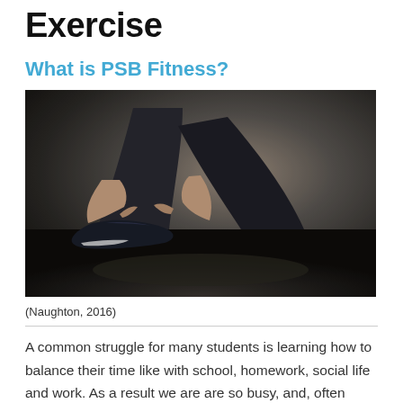Exercise
What is PSB Fitness?
[Figure (photo): Person kneeling on a dark gym floor tying the laces of a black athletic shoe, wearing dark leggings. Background is blurred grey.]
(Naughton, 2016)
A common struggle for many students is learning how to balance their time like with school, homework, social life and work. As a result we are are so busy, and, often forget that we need to take care of our